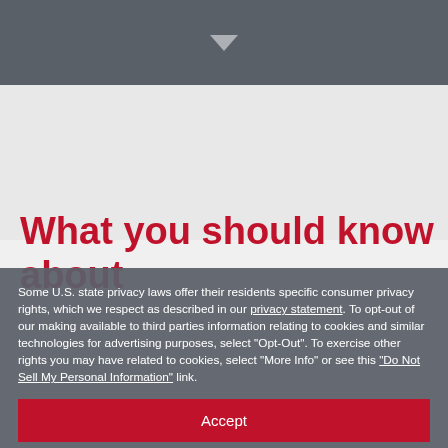[Figure (screenshot): Dark gray top navigation bar with a downward-pointing triangle/arrow icon centered]
[Figure (screenshot): Light gray background area with a downward-pointing chevron/notch shape]
What you should know about
Some U.S. state privacy laws offer their residents specific consumer privacy rights, which we respect as described in our privacy statement. To opt-out of our making available to third parties information relating to cookies and similar technologies for advertising purposes, select "Opt-Out". To exercise other rights you may have related to cookies, select "More Info" or see this "Do Not Sell My Personal Information" link.
Accept
Opt-Out
More Info